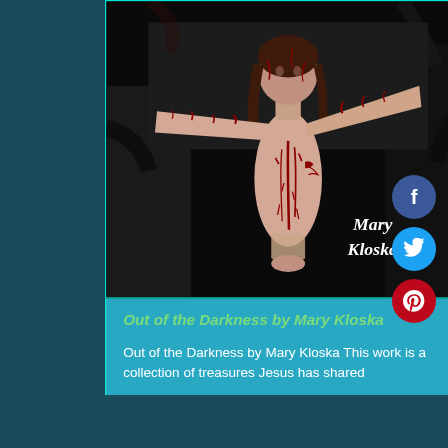[Figure (illustration): A dramatic painting of the crucifixion of Jesus Christ. The figure is shown with arms spread wide on a cross, painted in pale flesh tones against a dark black background. Red paint strokes suggest blood wounds across the body. The painting style is expressionistic and raw. The text 'Mary Kloska' appears in white script in the lower right of the painting.]
Out of the Darkness by Mary Kloska
Out of the Darkness by Mary Kloska This work is a collection of treasures Jesus has shared